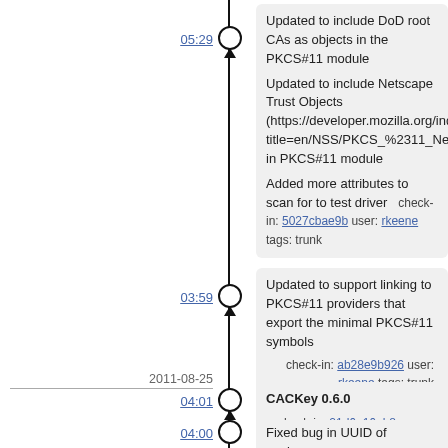05:29
Updated to include DoD root CAs as objects in the PKCS#11 module

Updated to include Netscape Trust Objects (https://developer.mozilla.org/index.php?title=en/NSS/PKCS_%2311_Netscape_Trust) in PKCS#11 module

Added more attributes to scan for to test driver check-in: 5027cbae9b user: rkeene tags: trunk
03:59
Updated to support linking to PKCS#11 providers that export the minimal PKCS#11 symbols check-in: ab28e9b926 user: rkeene tags: trunk
2011-08-25
04:01
CACKey 0.6.0 check-in: 21d6e16ab8 user: rkeene tags: trunk, 0.6.0
04:00
Fixed bug in UUID of package

Added PKCS11.tokend package to CACKey